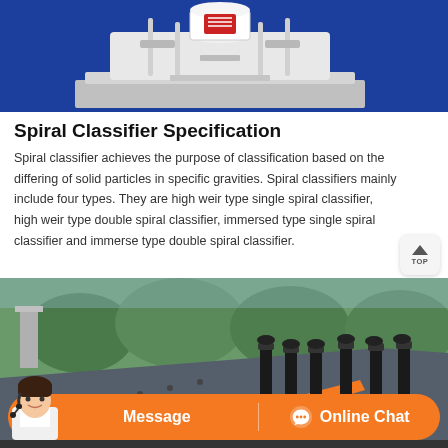[Figure (photo): Photo of a spiral classifier machine model — white/grey machine on a grey base with cylindrical top component and vertical poles, set against blue background]
Spiral Classifier Specification
Spiral classifier achieves the purpose of classification based on the differing of solid particles in specific gravities. Spiral classifiers mainly include four types. They are high weir type single spiral classifier, high weir type double spiral classifier, immersed type single spiral classifier and immerse type double spiral classifier.
[Figure (photo): Outdoor photograph of a large industrial vibrating screen or spiral classifier machine with grey and orange body panels, black mechanical components on top, green trees visible in background]
Message   Online Chat